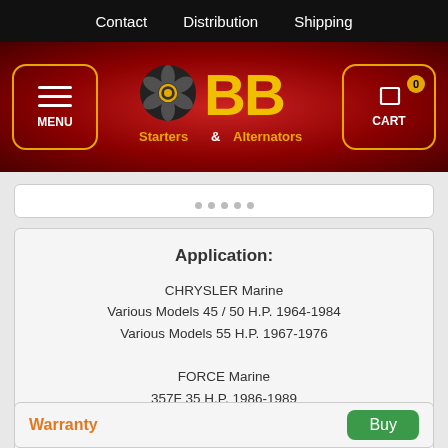Contact   Distribution   Shipping
[Figure (logo): BB Starters & Alternators logo with spinning gear icon on dark red banner background, with MENU button on left and CART (0) button on right]
Application:
CHRYSLER Marine
Various Models 45 / 50 H.P. 1964-1984
Various Models 55 H.P. 1967-1976

FORCE Marine
357F 35 H.P. 1986-1989
504 50 H.P. 1988-1989
507 50 H.P. 1984-1991
508 50 H.P. 1987-1991
Warranty
Buy